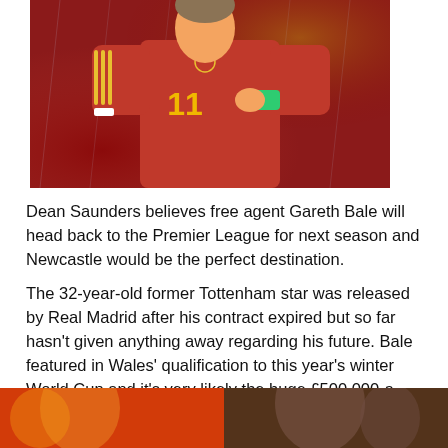[Figure (photo): Gareth Bale wearing red Wales jersey number 11, holding the captain's armband, with crowd in background]
Dean Saunders believes free agent Gareth Bale will head back to the Premier League for next season and Newcastle would be the perfect destination.
The 32-year-old former Tottenham star was released by Real Madrid after his contract expired but so far hasn't given anything away regarding his future. Bale featured in Wales' qualification to this year's winter World Cup and it's very likely the huge £500,000-a-week salary he made at the Bernabeu would be slashed to get himself a new club.
[Figure (photo): Two cropped photos at the bottom of the page showing football players]